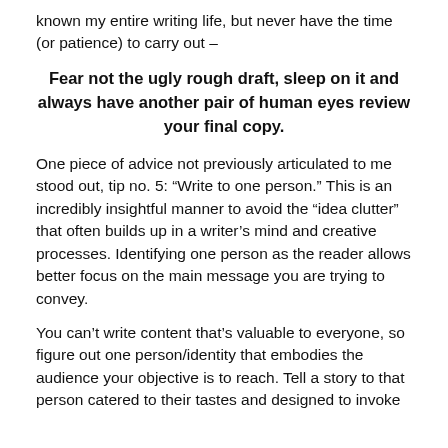known my entire writing life, but never have the time (or patience) to carry out –
Fear not the ugly rough draft, sleep on it and always have another pair of human eyes review your final copy.
One piece of advice not previously articulated to me stood out, tip no. 5: “Write to one person.” This is an incredibly insightful manner to avoid the “idea clutter” that often builds up in a writer’s mind and creative processes. Identifying one person as the reader allows better focus on the main message you are trying to convey.
You can’t write content that’s valuable to everyone, so figure out one person/identity that embodies the audience your objective is to reach. Tell a story to that person catered to their tastes and designed to invoke